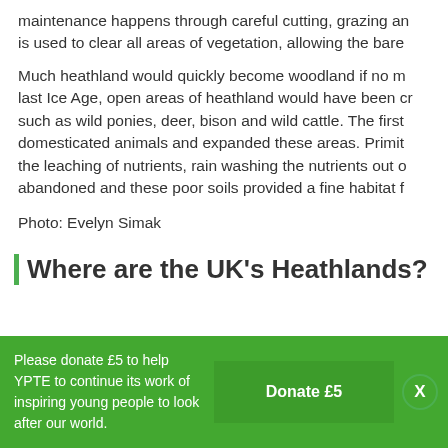maintenance happens through careful cutting, grazing an is used to clear all areas of vegetation, allowing the bare
Much heathland would quickly become woodland if no m last Ice Age, open areas of heathland would have been cr such as wild ponies, deer, bison and wild cattle. The first domesticated animals and expanded these areas. Primit the leaching of nutrients, rain washing the nutrients out o abandoned and these poor soils provided a fine habitat f
Photo: Evelyn Simak
Where are the UK's Heathlands?
Please donate £5 to help YPTE to continue its work of inspiring young people to look after our world.